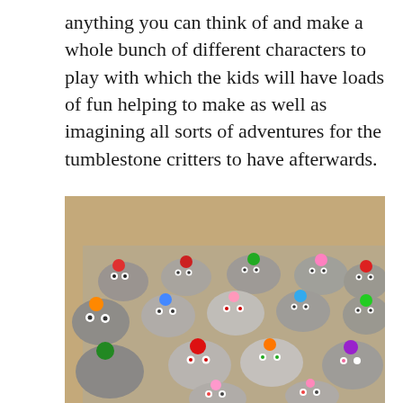anything you can think of and make a whole bunch of different characters to play with which the kids will have loads of fun helping to make as well as imagining all sorts of adventures for the tumblestone critters to have afterwards.
[Figure (photo): A photo of approximately 20 smooth grey stones arranged on a beige/brown surface, each decorated with googly eyes and colorful pom-poms on top to resemble cute creature characters (tumblestone critters).]